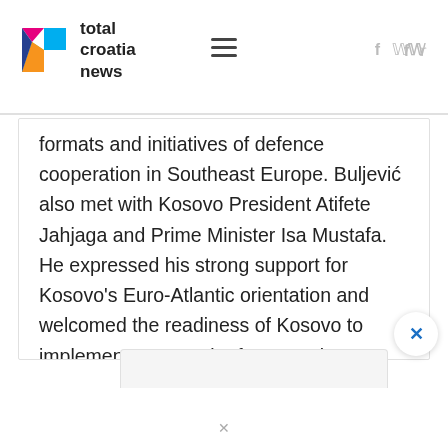total croatia news
formats and initiatives of defence cooperation in Southeast Europe. Buljević also met with Kosovo President Atifete Jahjaga and Prime Minister Isa Mustafa. He expressed his strong support for Kosovo's Euro-Atlantic orientation and welcomed the readiness of Kosovo to implement structural reforms and strengthen institutional capacity. Minister Buljević also met with the commander of NATO's KFOR forces General Guglielmo Luigi Miglietta and visited members of the Croatian contingent, also part of KFOR.